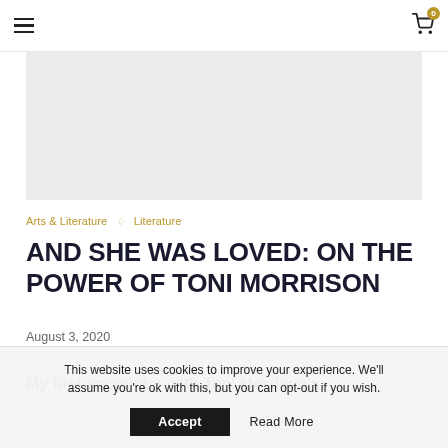Navigation header with hamburger menu and cart icon with badge 0
[Figure (photo): Gray placeholder hero image area]
Arts & Literature ◇ Literature
AND SHE WAS LOVED: ON THE POWER OF TONI MORRISON
August 3, 2020
My first encounter with Toni Morrison's
This website uses cookies to improve your experience. We'll assume you're ok with this, but you can opt-out if you wish. Accept  Read More